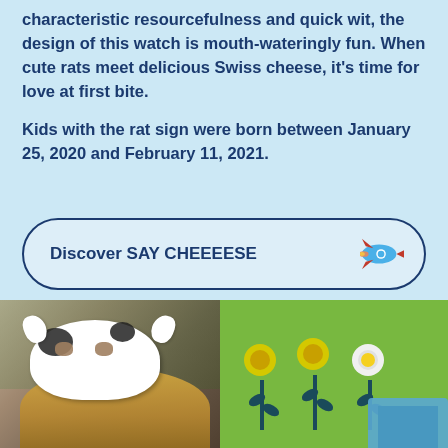characteristic resourcefulness and quick wit, the design of this watch is mouth-wateringly fun. When cute rats meet delicious Swiss cheese, it's time for love at first bite.

Kids with the rat sign were born between January 25, 2020 and February 11, 2021.
Discover SAY CHEEEESE
[Figure (photo): Child wearing a cow mask costume outdoors with blurred natural background]
[Figure (illustration): Green background with illustrated flowers in yellow and white on dark teal stems, and a partial view of a product box at the bottom right]